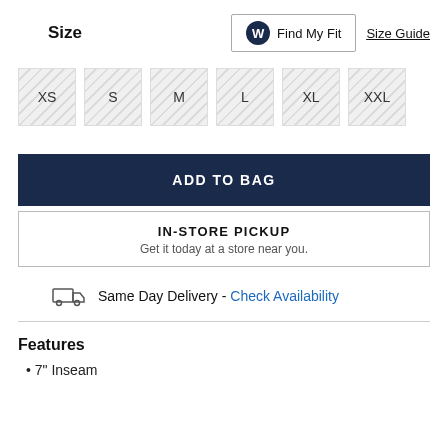Size
Find My Fit
Size Guide
XS  S  M  L  XL  XXL (size swatches, all crossed out)
ADD TO BAG
IN-STORE PICKUP
Get it today at a store near you.
Same Day Delivery - Check Availability
Features
7" Inseam